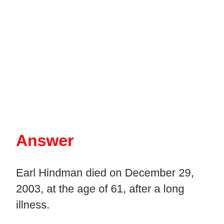Answer
Earl Hindman died on December 29, 2003, at the age of 61, after a long illness.